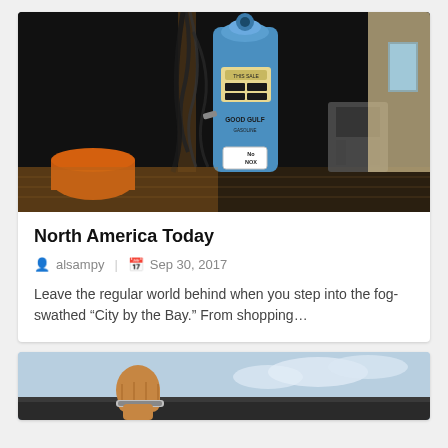[Figure (photo): Vintage blue Gulf 'Good Gulf Gasoline' gas pump with No-Nox label, on a wooden deck with dark background, hoses and equipment visible.]
North America Today
alsampy  |  Sep 30, 2017
Leave the regular world behind when you step into the fog-swathed “City by the Bay.” From shopping…
[Figure (photo): Partial view of a person raising a fist with a bracelet against a sky background, with road or car visible below.]